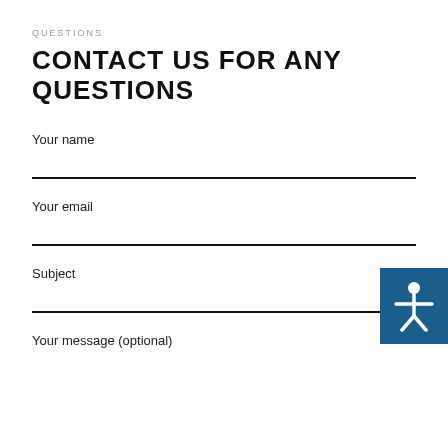QUESTIONS
CONTACT US FOR ANY QUESTIONS
Your name
Your email
Subject
[Figure (illustration): Accessibility icon: white human figure with arms outstretched on a dark blue square background]
Your message (optional)